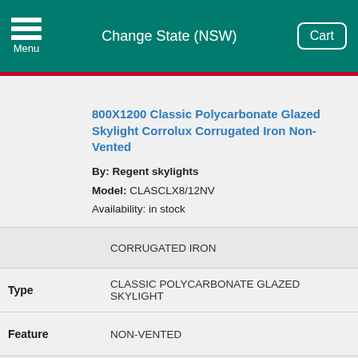Change State (NSW)
800X1200 Classic Polycarbonate Glazed Skylight Corrolux Corrugated Iron Non-Vented
By: Regent skylights
Model: CLASCLX8/12NV
Availability: in stock
|  |  |
| --- | --- |
|  | CORRUGATED IRON |
| Type | CLASSIC POLYCARBONATE GLAZED SKYLIGHT |
| Feature | NON-VENTED |
| Width | 800 |
| Length | 1200 |